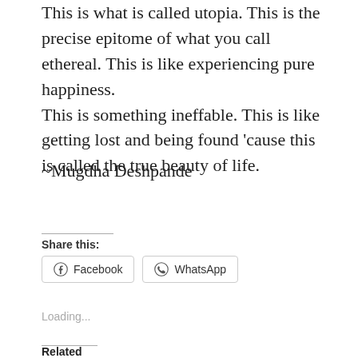This is what is called utopia. This is the precise epitome of what you call ethereal. This is like experiencing pure happiness.
This is something ineffable. This is like getting lost and being found 'cause this is called the true beauty of life.
~Mugdha Deshpande
Share this:
Facebook   WhatsApp
Loading...
Related